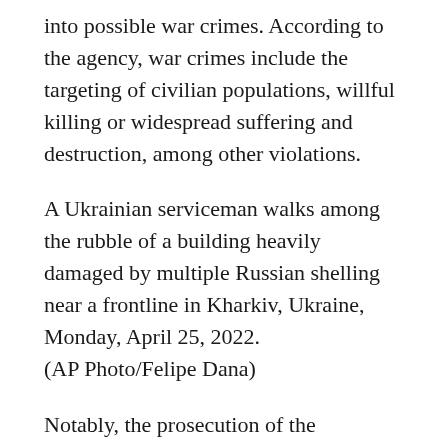into possible war crimes. According to the agency, war crimes include the targeting of civilian populations, willful killing or widespread suffering and destruction, among other violations.
A Ukrainian serviceman walks among the rubble of a building heavily damaged by multiple Russian shelling near a frontline in Kharkiv, Ukraine, Monday, April 25, 2022.
(AP Photo/Felipe Dana)
Notably, the prosecution of the International Criminal Court joins a joint investigation team set up by Ukraine, Lithuania and Poland to investigate the atrocities committed during the invasion.
Even as photos of bodies were taken along city streets and mass graves, Russia denied targeting civilians and Moscow accused kyiv of genocide against Russian speakers.